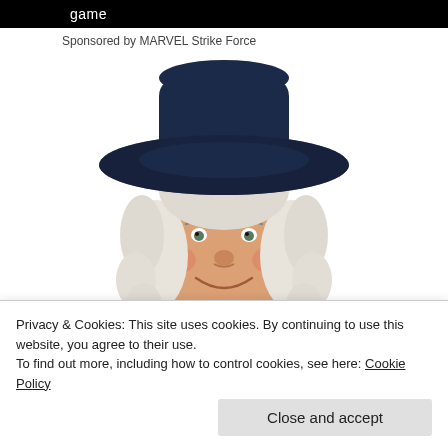game
Sponsored by MARVEL Strike Force
[Figure (illustration): Illustration of the Quaker Oats mascot — a smiling man with white curly hair wearing a dark navy colonial-style hat and coat with a white ruffled collar, shown from the shoulders up against a white background.]
Privacy & Cookies: This site uses cookies. By continuing to use this website, you agree to their use.
To find out more, including how to control cookies, see here: Cookie Policy
Close and accept